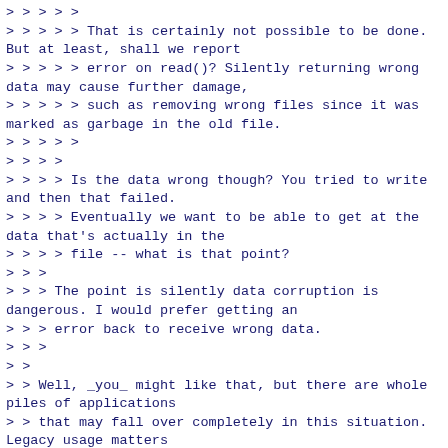> > > > >
> > > > > That is certainly not possible to be done. But at least, shall we report
> > > > > error on read()? Silently returning wrong data may cause further damage,
> > > > > such as removing wrong files since it was marked as garbage in the old file.
> > > > >
> > > >
> > > > Is the data wrong though? You tried to write and then that failed.
> > > > Eventually we want to be able to get at the data that's actually in the
> > > > file -- what is that point?
> > >
> > > The point is silently data corruption is dangerous. I would prefer getting an
> > > error back to receive wrong data.
> > >
> >
> > Well, _you_ might like that, but there are whole piles of applications
> > that may fall over completely in this situation. Legacy usage matters
> > here.
> >
> > > A practical and concrete example may be,
> > > A disk cleaner program that first searches for garbage files that won't be used
> > > anymore and save the list in a file (open().